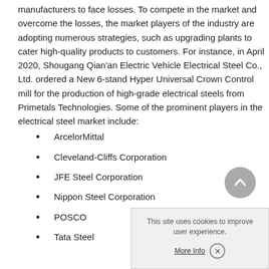manufacturers to face losses. To compete in the market and overcome the losses, the market players of the industry are adopting numerous strategies, such as upgrading plants to cater high-quality products to customers. For instance, in April 2020, Shougang Qian'an Electric Vehicle Electrical Steel Co., Ltd. ordered a New 6-stand Hyper Universal Crown Control mill for the production of high-grade electrical steels from Primetals Technologies. Some of the prominent players in the electrical steel market include:
ArcelorMittal
Cleveland-Cliffs Corporation
JFE Steel Corporation
Nippon Steel Corporation
POSCO
Tata Steel